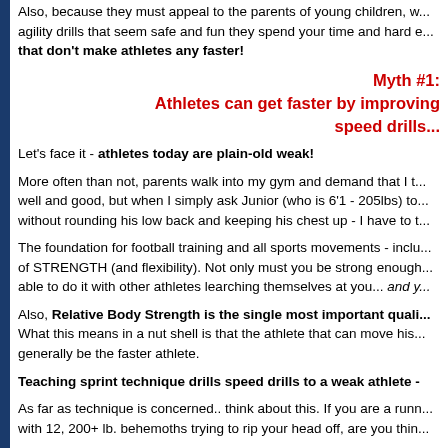Also, because they must appeal to the parents of young children, w... agility drills that seem safe and fun they spend your time and hard e... that don't make athletes any faster!
Myth #1:
Athletes can get faster by improving speed drills...
Let's face it - athletes today are plain-old weak!
More often than not, parents walk into my gym and demand that I t... well and good, but when I simply ask Junior (who is 6'1 - 205lbs) to... without rounding his low back and keeping his chest up - I have to t...
The foundation for football training and all sports movements - inclu... of STRENGTH (and flexibility). Not only must you be strong enough... able to do it with other athletes learching themselves at you... and y...
Also, Relative Body Strength is the single most important quali... What this means in a nut shell is that the athlete that can move his... generally be the faster athlete.
Teaching sprint technique drills speed drills to a weak athlete -
As far as technique is concerned.. think about this. If you are a runn... with 12, 200+ lb. behemoths trying to rip your head off, are you thin...
A) Keep my elbows "tight" and hands loose.
B) Reach with my heel forwards and pull back against the turf.
C) Grunt!... Ugh. *pant* *pant*... arggg! CRASH!!!